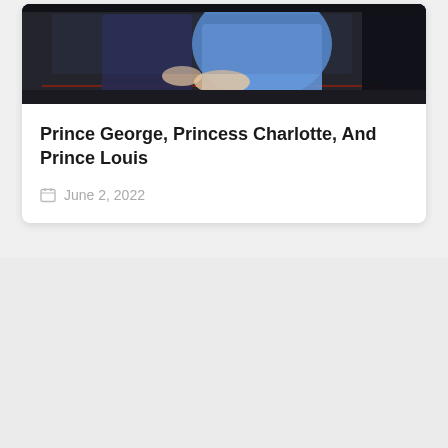[Figure (photo): Photo of children in a carriage — Prince George, Princess Charlotte, and Prince Louis — partially visible in a black carriage with blue clothing visible]
Prince George, Princess Charlotte, And Prince Louis
June 2, 2022